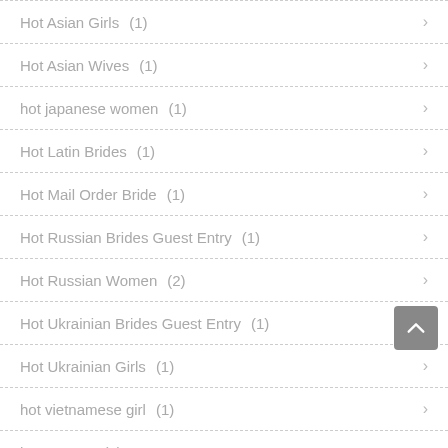Hot Asian Girls (1)
Hot Asian Wives (1)
hot japanese women (1)
Hot Latin Brides (1)
Hot Mail Order Bride (1)
Hot Russian Brides Guest Entry (1)
Hot Russian Women (2)
Hot Ukrainian Brides Guest Entry (1)
Hot Ukrainian Girls (1)
hot vietnamese girl (1)
hot women (1)
How Do You Write A Persuasive Essay (1)